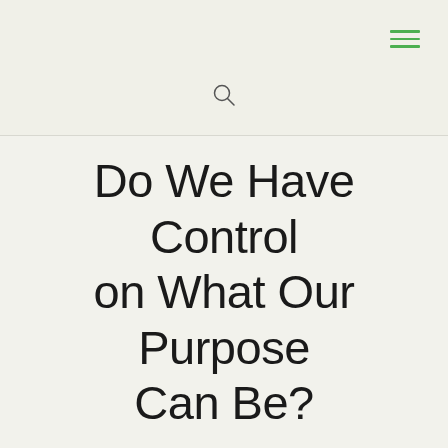[menu icon] [search icon]
Do We Have Control on What Our Purpose Can Be?